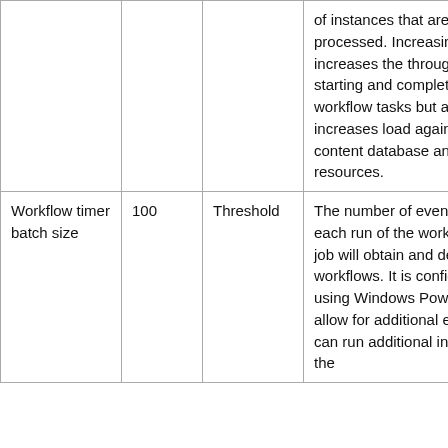| Name | Value | Type | Description |
| --- | --- | --- | --- |
|  |  |  | of instances that are being processed. Increasing this limit increases the throughput of starting and completing workflow tasks but also increases load against the content database and system resources. |
| Workflow timer batch size | 100 | Threshold | The number of events that each run of the workflow timer job will obtain and deliver to workflows. It is configurable by using Windows PowerShell. To allow for additional events, you can run additional instances of the |